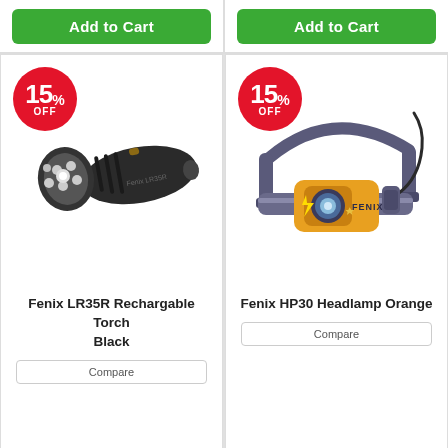[Figure (screenshot): Two 'Add to Cart' green buttons side by side at the top of the page]
[Figure (photo): Fenix LR35R Rechargable Torch Black — black high-powered flashlight with multiple LEDs, shown at an angle. Has a 15% OFF red circular badge.]
Fenix LR35R Rechargable Torch Black
[Figure (photo): Fenix HP30 Headlamp Orange — yellow/black headlamp with strap, shown from front. Has a 15% OFF red circular badge.]
Fenix HP30 Headlamp Orange